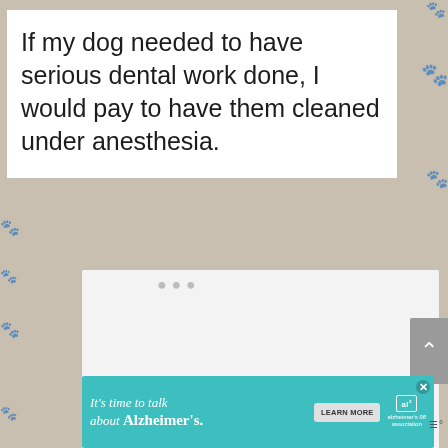If my dog needed to have serious dental work done, I would pay to have them cleaned under anesthesia.
[Figure (screenshot): A comment/reply loading area with three gray dots indicating loading or placeholder content]
[Figure (screenshot): Alzheimer's Association advertisement banner: 'It's time to talk about Alzheimer's.' with a LEARN MORE button and the Alzheimer's association logo]